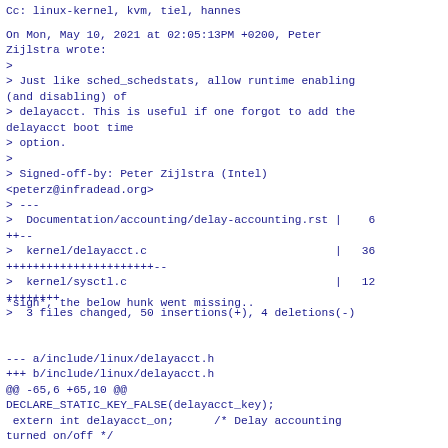Cc: linux-kernel, kvm, tiel, hannes
On Mon, May 10, 2021 at 02:05:13PM +0200, Peter Zijlstra wrote:
>
> Just like sched_schedstats, allow runtime enabling (and disabling) of
> delayacct. This is useful if one forgot to add the delayacct boot time
> option.
>
> Signed-off-by: Peter Zijlstra (Intel) <peterz@infradead.org>
> ---
>  Documentation/accounting/delay-accounting.rst |    6 ++--
>  kernel/delayacct.c                            |   36 ++++++++++++++++++++++--
>  kernel/sysctl.c                               |   12 ++++++++
>  3 files changed, 50 insertions(+), 4 deletions(-)
*sigh*, the below hunk went missing..
--- a/include/linux/delayacct.h
+++ b/include/linux/delayacct.h
@@ -65,6 +65,10 @@
DECLARE_STATIC_KEY_FALSE(delayacct_key);
 extern int delayacct_on;      /* Delay accounting
turned on/off */